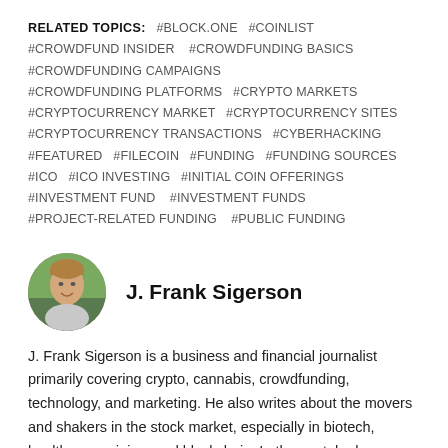RELATED TOPICS: #BLOCK.ONE #COINLIST #CROWDFUND INSIDER #CROWDFUNDING BASICS #CROWDFUNDING CAMPAIGNS #CROWDFUNDING PLATFORMS #CRYPTO MARKETS #CRYPTOCURRENCY MARKET #CRYPTOCURRENCY SITES #CRYPTOCURRENCY TRANSACTIONS #CYBERHACKING #FEATURED #FILECOIN #FUNDING #FUNDING SOURCES #ICO #ICO INVESTING #INITIAL COIN OFFERINGS #INVESTMENT FUND #INVESTMENT FUNDS #PROJECT-RELATED FUNDING #PUBLIC FUNDING
[Figure (photo): Circular headshot photo of J. Frank Sigerson, a man with light brown hair, smiling, outdoors with greenery background]
J. Frank Sigerson
J. Frank Sigerson is a business and financial journalist primarily covering crypto, cannabis, crowdfunding, technology, and marketing. He also writes about the movers and shakers in the stock market, especially in biotech, healthcare, mining, and blockchain. In the past, he has shared his thoughts on IT and design, social media, pop culture, food and wine, TV, film, and music. His works have been published in Investing.com,